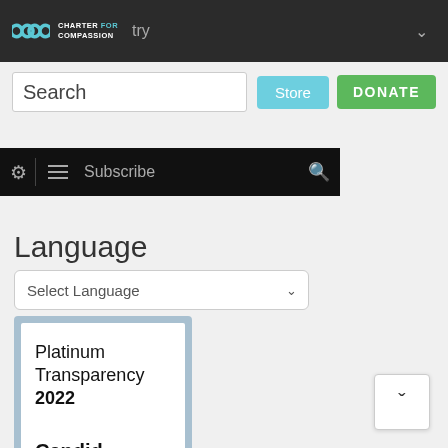[Figure (screenshot): Charter for Compassion website navigation bar with infinity logo and text]
Search
Store
DONATE
Subscribe
Language
Select Language
[Figure (other): Candid Platinum Transparency 2022 badge showing Platinum Transparency 2022 Candid.]